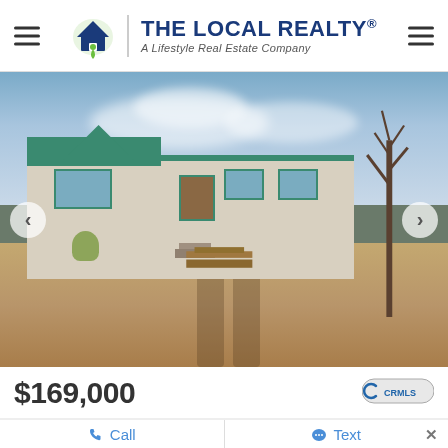The Local Realty® — A Lifestyle Real Estate Company
[Figure (photo): Exterior photo of a single-story manufactured home with teal/green trim, white vertical siding, dry dirt yard, bare trees, and construction materials on the ground. Navigation arrows on left and right sides of the photo.]
$169,000
[Figure (logo): CRMLS logo badge]
Call
Text